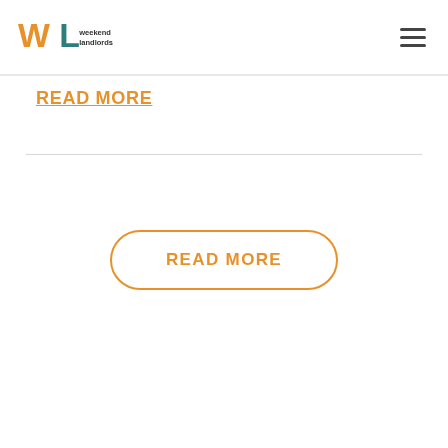Weekend Landlords
READ MORE
READ MORE